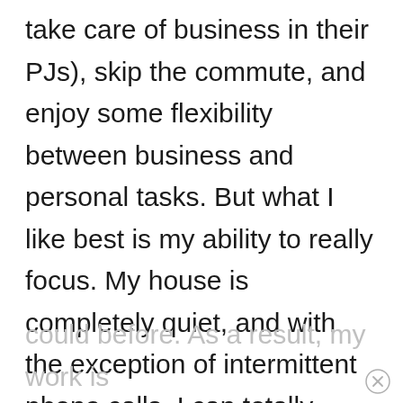take care of business in their PJs), skip the commute, and enjoy some flexibility between business and personal tasks. But what I like best is my ability to really focus. My house is completely quiet, and with the exception of intermittent phone calls, I can totally focus in on my work. I find I can create, write, problem-solve, and plan in a way that I never could before. As a result, my work is